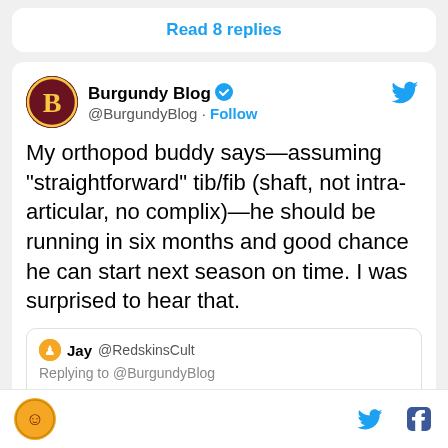Read 8 replies
Burgundy Blog @BurgundyBlog · Follow
My orthopod buddy says—assuming "straightforward" tib/fib (shaft, not intra-articular, no complix)—he should be running in six months and good chance he can start next season on time. I was surprised to hear that.
Jay @RedskinsCult
Replying to @BurgundyBlog
You're in the medical field—a broken tibia and fibula recovery time is how long? Is this equally as bad as